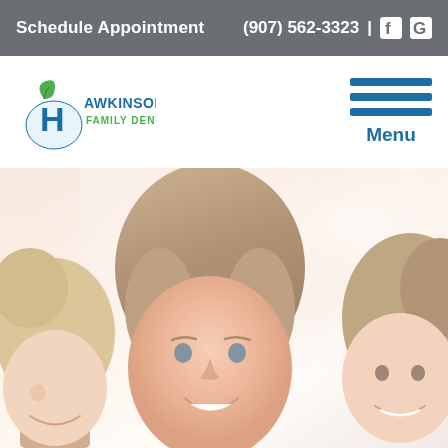Schedule Appointment | (907) 562-3323
[Figure (logo): Hawkinson Dental Family Dentistry logo with stylized H and leaf/tooth icon in blue and green]
[Figure (other): Hamburger menu icon (three blue horizontal lines) with 'Menu' text below in blue]
[Figure (photo): Hero image of a smiling family - woman with two children, bright high-key photo with warm light tones]